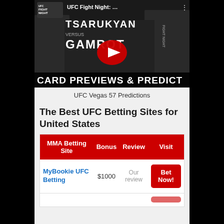[Figure (screenshot): YouTube video thumbnail for UFC Fight Night: Tsarukyan vs Gamrot card previews and predictions, showing two MMA fighters with a red YouTube play button overlay.]
UFC Vegas 57 Predictions
The Best UFC Betting Sites for United States
| MMA Betting Site | Bonus | Review | Visit |
| --- | --- | --- | --- |
| MyBookie UFC Betting | $1000 | Our review | Bet Now! |